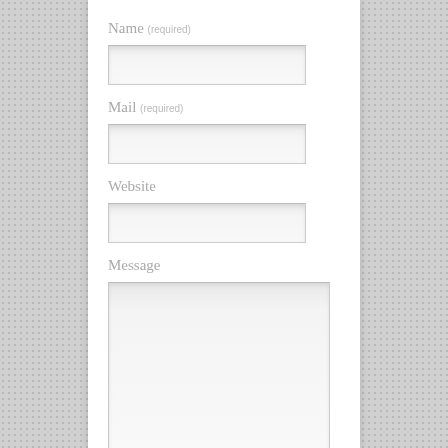Name (required)
[Figure (screenshot): Empty text input field for Name]
Mail (required)
[Figure (screenshot): Empty text input field for Mail]
Website
[Figure (screenshot): Empty text input field for Website]
Message
[Figure (screenshot): Empty textarea field for Message]